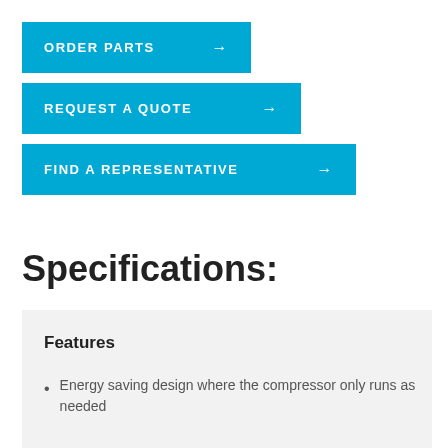ORDER PARTS →
REQUEST A QUOTE →
FIND A REPRESENTATIVE →
Specifications:
Features
Energy saving design where the compressor only runs as needed